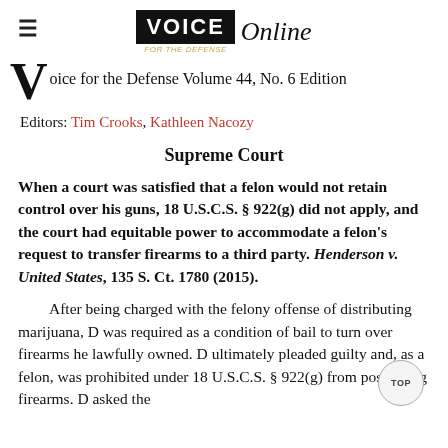≡  VOICE Online
Voice for the Defense Volume 44, No. 6 Edition
Editors: Tim Crooks, Kathleen Nacozy
Supreme Court
When a court was satisfied that a felon would not retain control over his guns, 18 U.S.C.S. § 922(g) did not apply, and the court had equitable power to accommodate a felon's request to transfer firearms to a third party. Henderson v. United States, 135 S. Ct. 1780 (2015).
After being charged with the felony offense of distributing marijuana, D was required as a condition of bail to turn over firearms he lawfully owned. D ultimately pleaded guilty and, as a felon, was prohibited under 18 U.S.C.S. § 922(g) from possessing firearms. D asked the